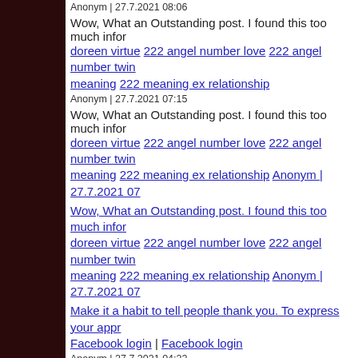Anonym | 27.7.2021 08:06
Wow, What an Outstanding post. I found this too much infor... doreen virtue 222 angel number love 222 angel number twin... meaning 222 meaning ex relationship
Anonym | 27.7.2021 07:15
Wow, What an Outstanding post. I found this too much infor... doreen virtue 222 angel number love 222 angel number twin... meaning 222 meaning ex relationship Anonym | 27.7.2021 07...
Wow, What an Outstanding post. I found this too much infor... doreen virtue 222 angel number love 222 angel number twin... meaning 222 meaning ex relationship Anonym | 27.7.2021 07...
Make it a habit to tell people thank you. To express your appr... Facebook login | Facebook login
Anonym | 27.7.2021 04:22
Wow, What an Outstanding post. I found this too much infor... love 83 angel number twin flame 83 angel number meaning 8... number doreen virtue
Anonym | 26.7.2021 18:19
Wow, What an Outstanding post. I found this too much infor... 754 angel number 754 angel number love 754 Meaning 7...